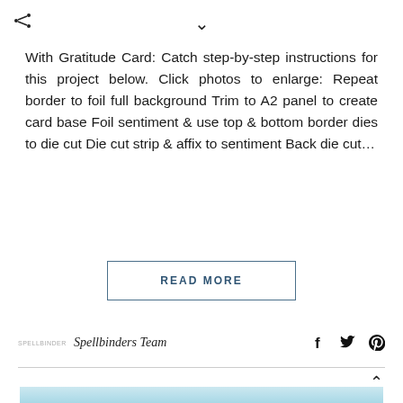With Gratitude Card: Catch step-by-step instructions for this project below. Click photos to enlarge: Repeat border to foil full background Trim to A2 panel to create card base Foil sentiment & use top & bottom border dies to die cut Die cut strip & affix to sentiment Back die cut...
READ MORE
Spellbinders Team
[Figure (photo): Bottom portion of a crafting blog page showing butterfly paper craft images on a light blue background]